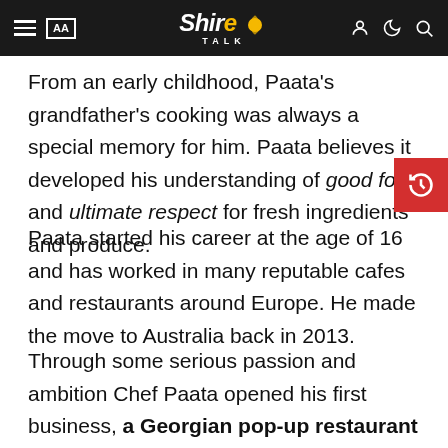ShireTalk navigation bar
From an early childhood, Paata's grandfather's cooking was always a special memory for him. Paata believes it developed his understanding of good food and ultimate respect for fresh ingredients and produce.
Paata started his career at the age of 16 and has worked in many reputable cafes and restaurants around Europe. He made the move to Australia back in 2013.
Through some serious passion and ambition Chef Paata opened his first business, a Georgian pop-up restaurant in Newtown.